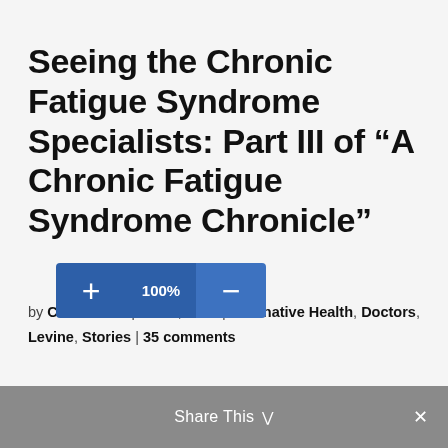Seeing the Chronic Fatigue Syndrome Specialists: Part III of “A Chronic Fatigue Syndrome Chronicle”
by Carol Lefelt | Jul 12, 2013 | Alternative Health, Doctors, Levine, Stories | 35 comments
[Figure (screenshot): Zoom toolbar with plus button, 100% percentage display, minus button, and a Share This bar at the bottom with close X]